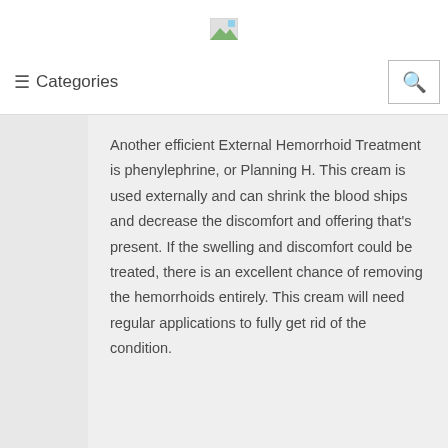[Figure (logo): Small logo image in the page header]
≡ Categories
Another efficient External Hemorrhoid Treatment is phenylephrine, or Planning H. This cream is used externally and can shrink the blood ships and decrease the discomfort and offering that's present. If the swelling and discomfort could be treated, there is an excellent chance of removing the hemorrhoids entirely. This cream will need regular applications to fully get rid of the condition.